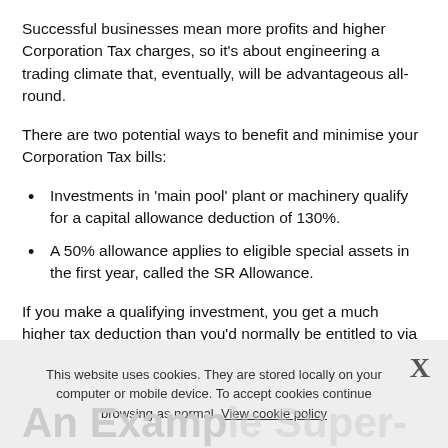Successful businesses mean more profits and higher Corporation Tax charges, so it's about engineering a trading climate that, eventually, will be advantageous all-round.
There are two potential ways to benefit and minimise your Corporation Tax bills:
Investments in 'main pool' plant or machinery qualify for a capital allowance deduction of 130%.
A 50% allowance applies to eligible special assets in the first year, called the SR Allowance.
If you make a qualifying investment, you get a much higher tax deduction than you'd normally be entitled to via the regular First-Year Allowance (FYA).
This website uses cookies. They are stored locally on your computer or mobile device. To accept cookies continue browsing as normal. View cookie policy
An Example Super-